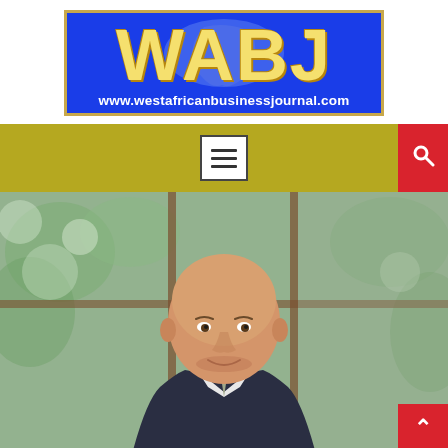[Figure (logo): WABJ West African Business Journal logo: blue rectangle with gold border, large yellow bold letters 'WABJ' with Africa continent silhouette watermark, white URL text 'www.westafricanbusinessjournal.com']
[Figure (screenshot): Website navigation bar: olive/yellow-green background, hamburger menu button (three lines in white box with dark border) centered, red search button with magnifying glass icon on right]
[Figure (photo): Professional headshot of a middle-aged bald Caucasian man in a dark suit with a light tie, smiling slightly, photographed in front of large windows with green foliage visible outside. Red back-to-top button with upward chevron in bottom-right corner.]